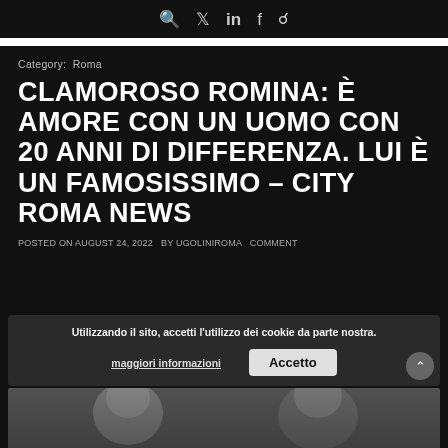🔍 🐦 in f 📷
Category:  Roma
CLAMOROSO ROMINA: È AMORE CON UN UOMO CON 20 ANNI DI DIFFERENZA. LUI È UN FAMOSISSIMO – CITY ROMA NEWS
POSTED ON AUGUST 24, 2022   BY UGOLINIROMA   COMMENT
Utilizzando il sito, accetti l'utilizzo dei cookie da parte nostra.
maggiori informazioni   Accetto
[Figure (photo): Partial view of a photo showing two people, cropped at bottom of page]